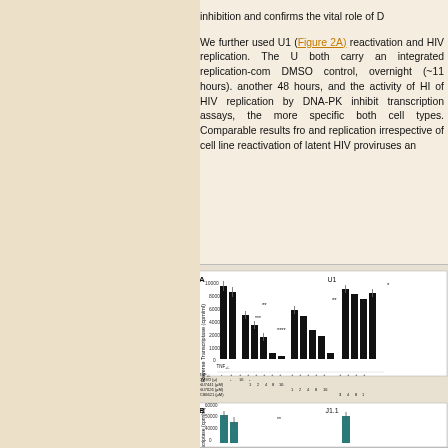inhibition and confirms the vital role of D...
We further used U1 (Figure 2A) reactivation and HIV replication. The U both carry an integrated replication-com DMSO control, overnight (~11 hours). another 48 hours, and the activity of HI of HIV replication by DNA-PK inhibit transcription assays, the more specific both cell types. Comparable results fro and replication irrespective of cell line reactivation of latent HIV proviruses an
[Figure (bar-chart): Bar chart panel A showing Reverse Transcriptase (cpm/ml) for U1 cells treated with TNF, DMSO, NU7441, NU7026, IC86621 at various concentrations. Panel B shows teal bars for J1.1 cells, Reverse Transcriptase (cpm/ml).]